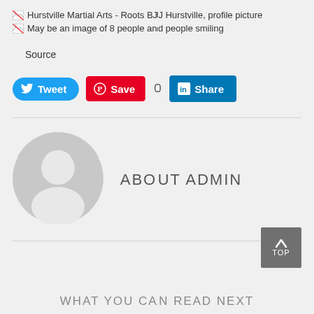[Figure (screenshot): Broken image placeholder icon with alt text: Hurstville Martial Arts - Roots BJJ Hurstville, profile picture]
[Figure (screenshot): Broken image placeholder icon with alt text: May be an image of 8 people and people smiling]
Source
[Figure (infographic): Social sharing buttons row: Tweet (Twitter blue), Save (Pinterest red), 0 count, Share (LinkedIn blue)]
[Figure (photo): Default grey avatar/profile picture placeholder showing silhouette of a person]
ABOUT ADMIN
WHAT YOU CAN READ NEXT